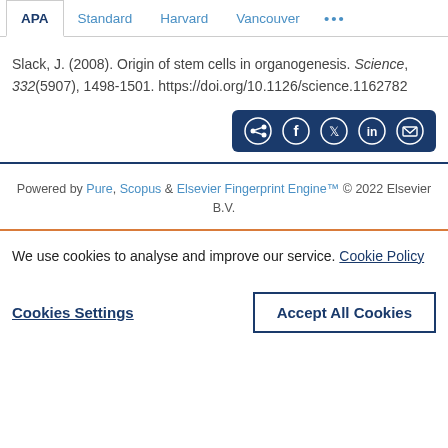APA | Standard | Harvard | Vancouver | ...
Slack, J. (2008). Origin of stem cells in organogenesis. Science, 332(5907), 1498-1501. https://doi.org/10.1126/science.1162782
[Figure (other): Share icons bar with share, Facebook, Twitter, LinkedIn, email icons on dark navy background]
Powered by Pure, Scopus & Elsevier Fingerprint Engine™ © 2022 Elsevier B.V.
We use cookies to analyse and improve our service. Cookie Policy
Cookies Settings
Accept All Cookies